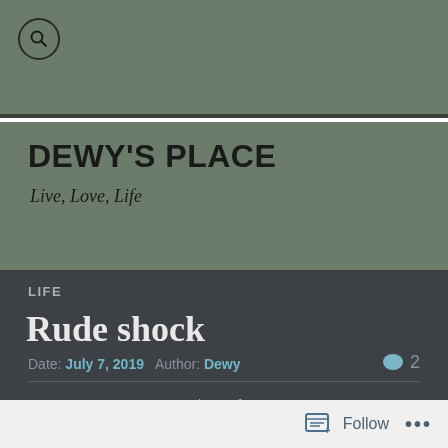[Figure (other): Search icon (magnifying glass) in a circle on green header bar]
DEWY'S PLACE
Live, Love, Life
LIFE
Rude shock
Date: July 7, 2019   Author: Dewy   💬 2
My electricity bill was $408 for the quarter. I was like what?
Follow  •••